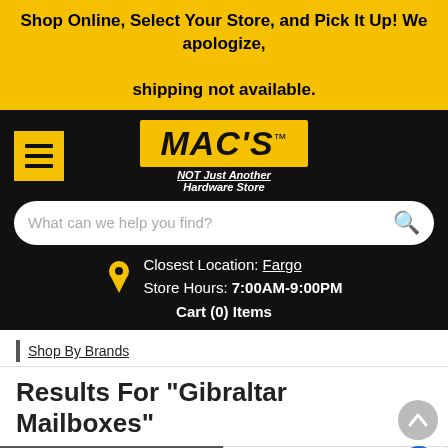Shop Online, Select Your Store, and Pick It Up! We apologize, shipping not available.
[Figure (screenshot): MAC'S Hardware Store website header with logo, search bar, location info showing Fargo store hours 7:00AM-9:00PM, and cart showing 0 items]
Shop By Brands
Results For "Gibraltar Mailboxes"
SHOP YOUR STORE (12)    ALL ITEMS (17)